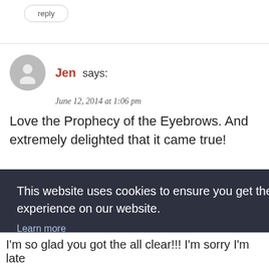reply
Jen says:
June 12, 2014 at 1:06 pm
Love the Prophecy of the Eyebrows. And extremely delighted that it came true!
This website uses cookies to ensure you get the best experience on our website.
Learn more
Got it!
I'm so glad you got the all clear!!! I'm sorry I'm late